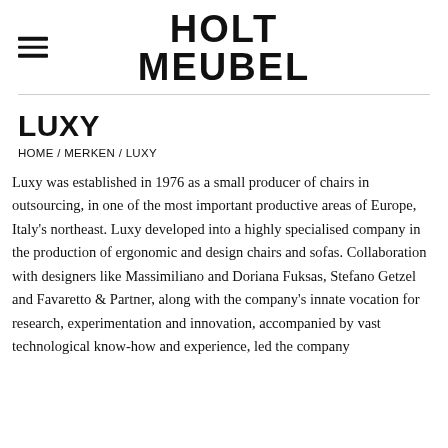HOLT MEUBEL
LUXY
HOME / MERKEN / LUXY
Luxy was established in 1976 as a small producer of chairs in outsourcing, in one of the most important productive areas of Europe, Italy's northeast. Luxy developed into a highly specialised company in the production of ergonomic and design chairs and sofas. Collaboration with designers like Massimiliano and Doriana Fuksas, Stefano Getzel and Favaretto & Partner, along with the company's innate vocation for research, experimentation and innovation, accompanied by vast technological know-how and experience, led the company